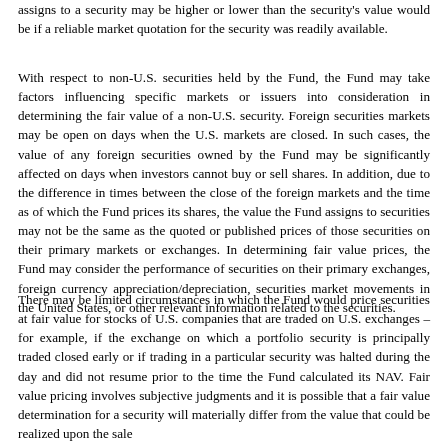assigns to a security may be higher or lower than the security's value would be if a reliable market quotation for the security was readily available.
With respect to non-U.S. securities held by the Fund, the Fund may take factors influencing specific markets or issuers into consideration in determining the fair value of a non-U.S. security. Foreign securities markets may be open on days when the U.S. markets are closed. In such cases, the value of any foreign securities owned by the Fund may be significantly affected on days when investors cannot buy or sell shares. In addition, due to the difference in times between the close of the foreign markets and the time as of which the Fund prices its shares, the value the Fund assigns to securities may not be the same as the quoted or published prices of those securities on their primary markets or exchanges. In determining fair value prices, the Fund may consider the performance of securities on their primary exchanges, foreign currency appreciation/depreciation, securities market movements in the United States, or other relevant information related to the securities.
There may be limited circumstances in which the Fund would price securities at fair value for stocks of U.S. companies that are traded on U.S. exchanges – for example, if the exchange on which a portfolio security is principally traded closed early or if trading in a particular security was halted during the day and did not resume prior to the time the Fund calculated its NAV. Fair value pricing involves subjective judgments and it is possible that a fair value determination for a security will materially differ from the value that could be realized upon the sale